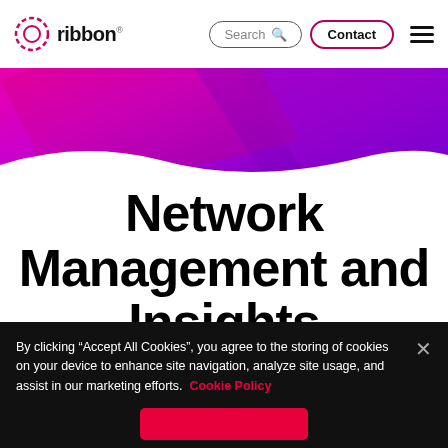[Figure (logo): Ribbon logo: circular dotted ring icon followed by the text 'ribbon' in dark color]
Search   Contact   [hamburger menu]
[Figure (illustration): Hero banner with magenta pink to deep purple gradient background with abstract geometric shapes]
Network Management and Insights
By clicking “Accept All Cookies”, you agree to the storing of cookies on your device to enhance site navigation, analyze site usage, and assist in our marketing efforts. Cookie Policy